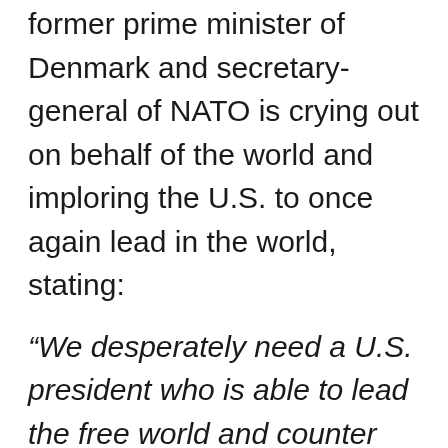former prime minister of Denmark and secretary-general of NATO is crying out on behalf of the world and imploring the U.S. to once again lead in the world, stating:
“We desperately need a U.S. president who is able to lead the free world and counter autocrats…right now, the [global] village is burning…we need a policeman to restore order; we need a